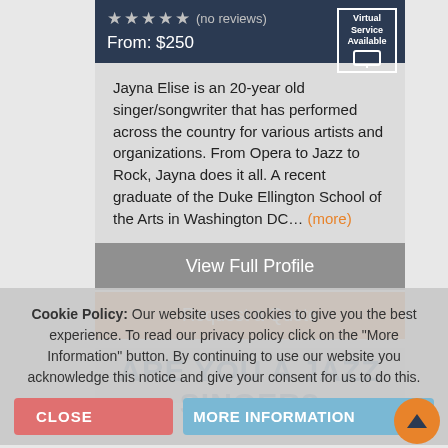★★★★★ (no reviews)
Virtual Service Available
From: $250
Jayna Elise is an 20-year old singer/songwriter that has performed across the country for various artists and organizations. From Opera to Jazz to Rock, Jayna does it all. A recent graduate of the Duke Ellington School of the Arts in Washington DC... (more)
View Full Profile
Request a Quote
Cookie Policy: Our website uses cookies to give you the best experience. To read our privacy policy click on the "More Information" button. By continuing to use our website you acknowledge this notice and give your consent for us to do this.
ARE YOU A JAZZ SINGER?
CLOSE
MORE INFORMATION